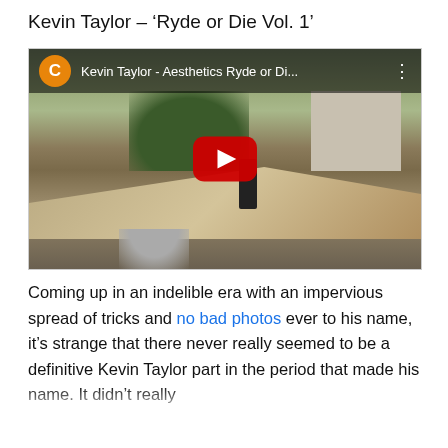Kevin Taylor – ‘Ryde or Die Vol. 1’
[Figure (screenshot): YouTube video embed showing a skateboarder performing a trick at an outdoor skate spot with picnic tables, trees and buildings in background. Video title: 'Kevin Taylor - Aesthetics Ryde or Di...' with orange C avatar icon and YouTube play button.]
Coming up in an indelible era with an impervious spread of tricks and no bad photos ever to his name, it’s strange that there never really seemed to be a definitive Kevin Taylor part in the period that made his name. It didn’t really capture his soaring speed and offensive line construction